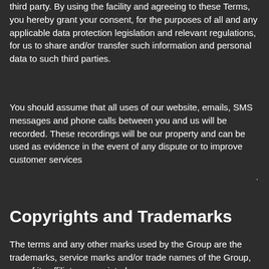third party. By using the facility and agreeing to these Terms, you hereby grant your consent, for the purposes of all and any applicable data protection legislation and relevant regulations, for us to share and/or transfer such information and personal data to such third parties.
You should assume that all uses of our website, emails, SMS messages and phone calls between you and us will be recorded. These recordings will be our property and can be used as evidence in the event of any dispute or to improve customer services
Copyrights and Trademarks
The terms and any other marks used by the Group are the trademarks, service marks and/or trade names of the Group, one of its affiliates associated